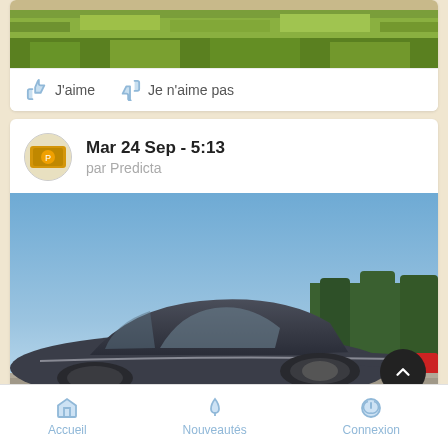[Figure (photo): Partial view of grass/field photo at top of screen]
J'aime   Je n'aime pas
Mar 24 Sep - 5:13
par Predicta
[Figure (photo): Vintage dark blue car (classic coupe, possibly 1950s) photographed outdoors under blue sky with trees in background]
Accueil   Nouveautés   Connexion